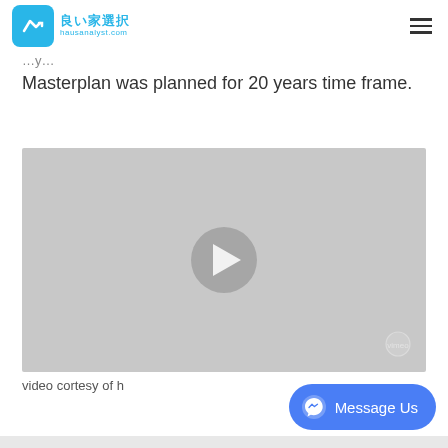良い家選択 hausanalyst.com
Masterplan was planned for 20 years time frame.
[Figure (screenshot): Video player with gray background, circular play button in the center, and Vimeo watermark in the bottom right corner.]
video cortesy of h
[Figure (other): Facebook Messenger 'Message Us' button in blue at the bottom right of the screen.]